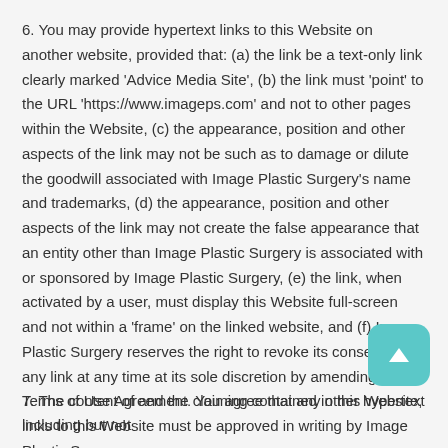6. You may provide hypertext links to this Website on another website, provided that: (a) the link be a text-only link clearly marked 'Advice Media Site', (b) the link must 'point' to the URL 'https://www.imageps.com' and not to other pages within the Website, (c) the appearance, position and other aspects of the link may not be such as to damage or dilute the goodwill associated with Image Plastic Surgery's name and trademarks, (d) the appearance, position and other aspects of the link may not create the false appearance that an entity other than Image Plastic Surgery is associated with or sponsored by Image Plastic Surgery, (e) the link, when activated by a user, must display this Website full-screen and not within a 'frame' on the linked website, and (f) Image Plastic Surgery reserves the right to revoke its consent to any link at any time at its sole discretion by amending this Terms of Use Agreement. You agree that any other hypertext links to this Website must be approved in writing by Image Plastic Surgery.
7. The content of and the claiming contained in this Website, including but not